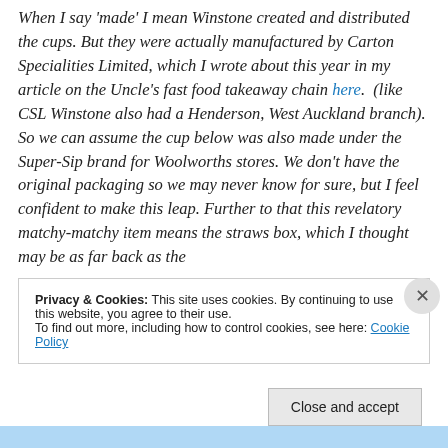When I say 'made' I mean Winstone created and distributed the cups. But they were actually manufactured by Carton Specialities Limited, which I wrote about this year in my article on the Uncle's fast food takeaway chain here.  (like CSL Winstone also had a Henderson, West Auckland branch).  So we can assume the cup below was also made under the Super-Sip brand for Woolworths stores. We don't have the original packaging so we may never know for sure, but I feel confident to make this leap. Further to that this revelatory matchy-matchy item means the straws box, which I thought may be as far back as the
Privacy & Cookies: This site uses cookies. By continuing to use this website, you agree to their use.
To find out more, including how to control cookies, see here: Cookie Policy